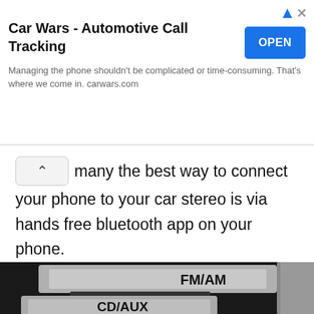[Figure (screenshot): Advertisement banner: Car Wars - Automotive Call Tracking with OPEN button. Managing the phone shouldn't be complicated or time-consuming. That's where we come in. carwars.com]
many the best way to connect your phone to your car stereo is via hands free bluetooth app on your phone.
[Figure (photo): Close-up photo of car stereo buttons labeled FM/AM and CD/AUX]